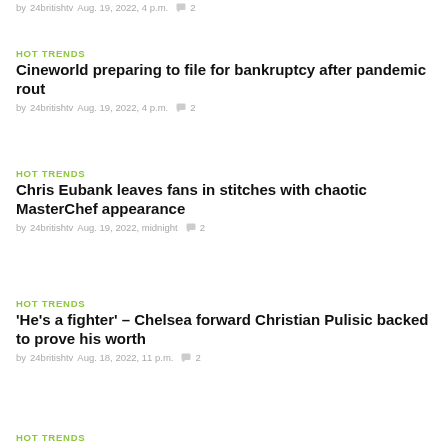by 24britishtv  Aug. 19, 2022, 4 p.m.  💬 2
HOT TRENDS
Cineworld preparing to file for bankruptcy after pandemic rout
by 24britishtv  Aug. 19, 2022, 4 p.m.  💬 2
HOT TRENDS
Chris Eubank leaves fans in stitches with chaotic MasterChef appearance
by 24britishtv  Aug. 19, 2022, midnight  💬 2
HOT TRENDS
'He's a fighter' – Chelsea forward Christian Pulisic backed to prove his worth
by 24britishtv  Aug. 18, 2022, 11 p.m.  💬 2
HOT TRENDS